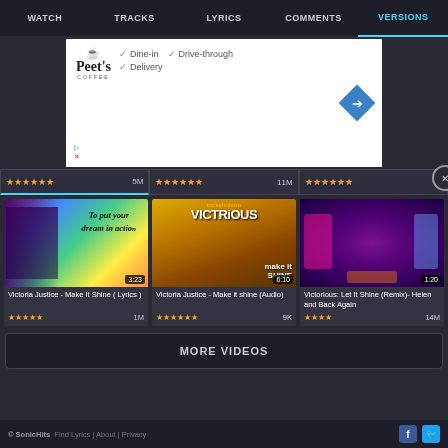WATCH | TRACKS | LYRICS | COMMENTS | VERSIONS
[Figure (screenshot): Advertisement for Peet's Coffee showing logo, checkmarks for Dine-in, Drive-through, Delivery, and a blue diamond navigation arrow]
★★★★★★  5M   ★★★★★★  11M   ★★★★★★
[Figure (screenshot): Video thumbnail: Victoria Justice - Make It Shine (Lyrics) with colorful gradient background and lyrics text 'To put your dream in action', duration 3:23]
[Figure (screenshot): Video thumbnail: Nickelodeon Victorious - Make It Shine (Audio) showing cast, duration 6:10]
[Figure (screenshot): Video thumbnail: Victorious: Let It Shine (Remix)- Helen and Back Again, concert stage, duration 1:20]
Victoria Justice - Make It Shine ( Lyrics )
Victoria Justice - Make it shine (Audio)
Victorious: Let It Shine (Remix)- Helen and Back Again
★★★★★  1M
★★★★★★  9K
★★★★  14M
MORE VIDEOS
© SonicHits  Find Lyrics | About | Privacy